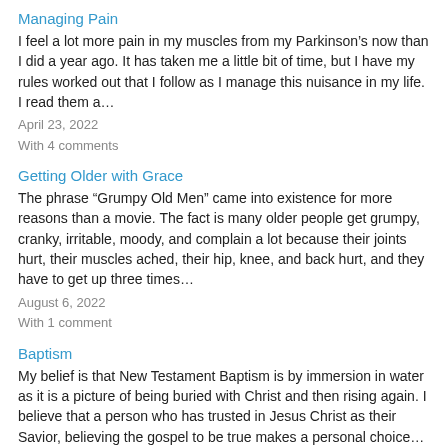Managing Pain
I feel a lot more pain in my muscles from my Parkinson’s now than I did a year ago. It has taken me a little bit of time, but I have my rules worked out that I follow as I manage this nuisance in my life. I read them a…
April 23, 2022
With 4 comments
Getting Older with Grace
The phrase “Grumpy Old Men” came into existence for more reasons than a movie. The fact is many older people get grumpy, cranky, irritable, moody, and complain a lot because their joints hurt, their muscles ached, their hip, knee, and back hurt, and they have to get up three times…
August 6, 2022
With 1 comment
Baptism
My belief is that New Testament Baptism is by immersion in water as it is a picture of being buried with Christ and then rising again. I believe that a person who has trusted in Jesus Christ as their Savior, believing the gospel to be true makes a personal choice…